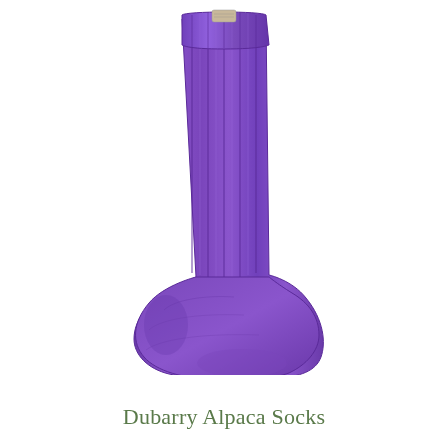[Figure (photo): A tall knee-high ribbed knit sock in bright purple/violet color, displayed upright against a white background. The sock has a small rectangular label tag at the top cuff area, and the foot portion curves to the right. The ribbed texture is visible along the length of the sock.]
Dubarry Alpaca Socks